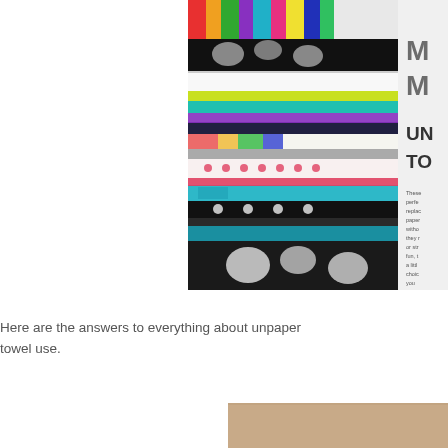[Figure (photo): Stack of colorful folded fabric towels/cloth towels with various patterns — florals, geometric, black and white, bright colors — with partial text overlay visible on the right side reading 'M... M...' and 'UN... TO...' with small body text below those headings. The image is cropped on right edge.]
Here are the answers to everything about unpaper towel use.
[Figure (photo): Partial view of a light brown/tan background, bottom right corner of the page.]